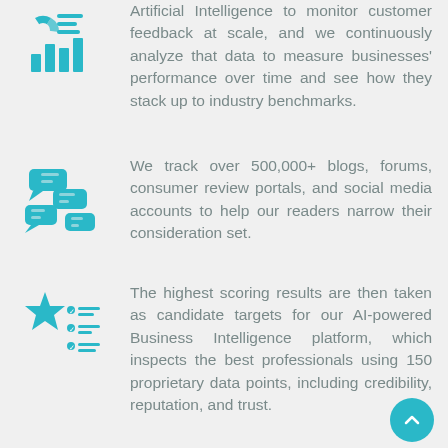[Figure (illustration): Cyan icon showing a chart/dashboard with bar graph and data lines]
Artificial Intelligence to monitor customer feedback at scale, and we continuously analyze that data to measure businesses' performance over time and see how they stack up to industry benchmarks.
[Figure (illustration): Cyan chat bubbles icon representing social media monitoring]
We track over 500,000+ blogs, forums, consumer review portals, and social media accounts to help our readers narrow their consideration set.
[Figure (illustration): Cyan star with checklist icon representing scoring/ranking]
The highest scoring results are then taken as candidate targets for our AI-powered Business Intelligence platform, which inspects the best professionals using 150 proprietary data points, including credibility, reputation, and trust.